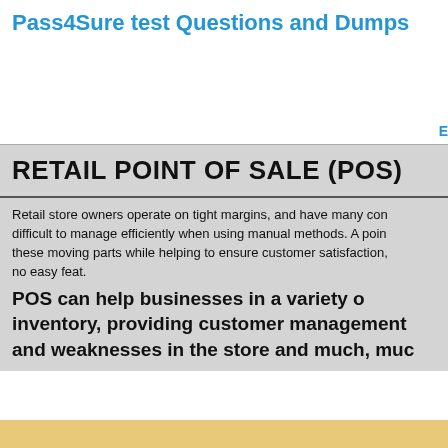Pass4Sure test Questions and Dumps
E
RETAIL POINT OF SALE (POS)
Retail store owners operate on tight margins, and have many con difficult to manage efficiently when using manual methods. A poin these moving parts while helping to ensure customer satisfaction, no easy feat.
POS can help businesses in a variety of inventory, providing customer management and weaknesses in the store and much, muc